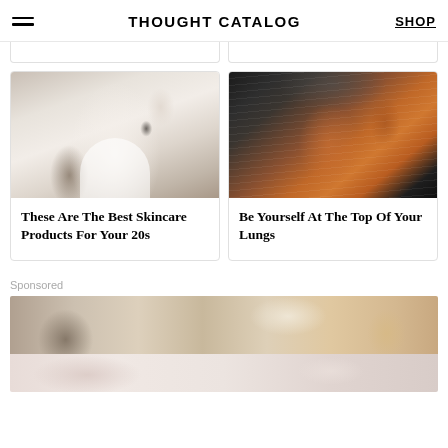THOUGHT CATALOG  SHOP
[Figure (photo): Woman in white bathrobe with headband applying skincare product, eyes closed]
These Are The Best Skincare Products For Your 20s
[Figure (photo): Person in orange rain jacket with mouth open laughing in rain/snow]
Be Yourself At The Top Of Your Lungs
Sponsored
[Figure (photo): Sponsored content image showing blurred bathroom/personal care scene]